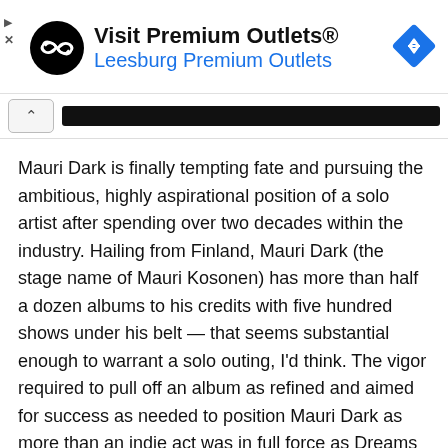[Figure (other): Advertisement banner for Visit Premium Outlets® – Leesburg Premium Outlets, with black circular logo featuring infinity-like symbol and a blue diamond navigation icon on the right.]
Mauri Dark is finally tempting fate and pursuing the ambitious, highly aspirational position of a solo artist after spending over two decades within the industry. Hailing from Finland, Mauri Dark (the stage name of Mauri Kosonen) has more than half a dozen albums to his credits with five hundred shows under his belt — that seems substantial enough to warrant a solo outing, I'd think. The vigor required to pull off an album as refined and aimed for success as needed to position Mauri Dark as more than an indie act was in full force as Dreams of a Middle-Aged Man couldn't feel further from the scrappy normalcy associated with debut projects.